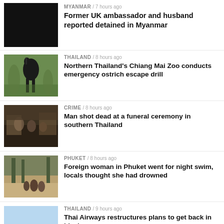[Figure (photo): Black square thumbnail image for Myanmar story]
MYANMAR / 7 hours ago
Former UK ambassador and husband reported detained in Myanmar
[Figure (photo): Ostrich photo for Chiang Mai Zoo story]
THAILAND / 8 hours ago
Northern Thailand's Chiang Mai Zoo conducts emergency ostrich escape drill
[Figure (photo): Crime scene photo for funeral shooting story]
CRIME / 8 hours ago
Man shot dead at a funeral ceremony in southern Thailand
[Figure (photo): Beach/forest photo for Phuket night swim story]
PHUKET / 8 hours ago
Foreign woman in Phuket went for night swim, locals thought she had drowned
[Figure (photo): Thai Airways airplane photo]
THAILAND / 9 hours ago
Thai Airways restructures plans to get back in black